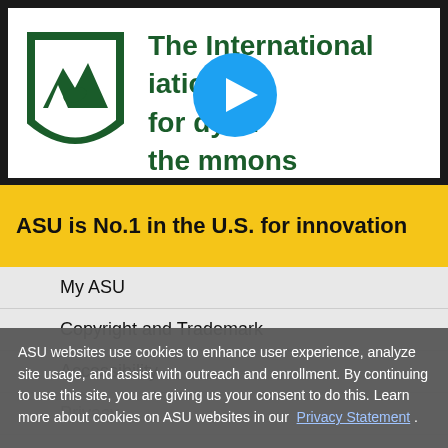[Figure (screenshot): Video thumbnail showing the International Association for the Study of the Commons logo (green shield with nature imagery) and partial green text title, with a blue circular play button overlaid in center]
ASU is No.1 in the U.S. for innovation
My ASU
Copyright and Trademark
Accessibility
Privacy
Emergency
Contact ASU
ASU websites use cookies to enhance user experience, analyze site usage, and assist with outreach and enrollment. By continuing to use this site, you are giving us your consent to do this. Learn more about cookies on ASU websites in our Privacy Statement .
I agree